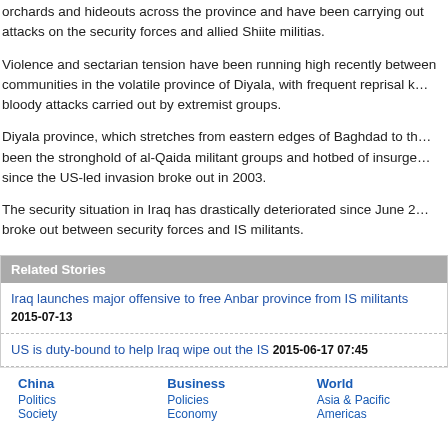orchards and hideouts across the province and have been carrying out attacks on the security forces and allied Shiite militias.
Violence and sectarian tension have been running high recently between communities in the volatile province of Diyala, with frequent reprisal killings and bloody attacks carried out by extremist groups.
Diyala province, which stretches from eastern edges of Baghdad to the Iranian border, has been the stronghold of al-Qaida militant groups and hotbed of insurgency activities since the US-led invasion broke out in 2003.
The security situation in Iraq has drastically deteriorated since June 2014 when fighting broke out between security forces and IS militants.
Related Stories
Iraq launches major offensive to free Anbar province from IS militants 2015-07-13
US is duty-bound to help Iraq wipe out the IS 2015-06-17 07:45
US considering more military bases in Iraq 2015-06-12 09:28
China  Politics  |  Business  Policies  |  World  Asia & Pacific